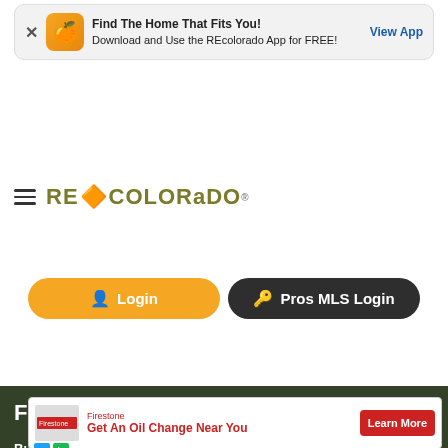[Figure (screenshot): App download banner for REcolorado mobile app with close button, app icon, text and View App link]
[Figure (logo): REcolorado logo with flame icon and hamburger menu]
Login
Pros MLS Login
[Figure (screenshot): Hero section with forest background, Find the Home That Fits You headline, navigation tabs (Buy a Home, Find My Home's Value, Find a Rental Home), and search bar with Location Keywords School Address placeholder]
[Figure (screenshot): Firestone advertisement - Get An Oil Change Near You with Learn More button]